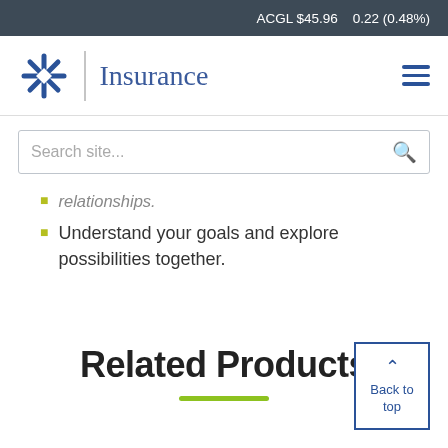ACGL $45.96   0.22 (0.48%)
[Figure (logo): Arch Insurance logo with star icon, vertical divider, and 'Insurance' text in serif font]
relationships.
Understand your goals and explore possibilities together.
Related Products